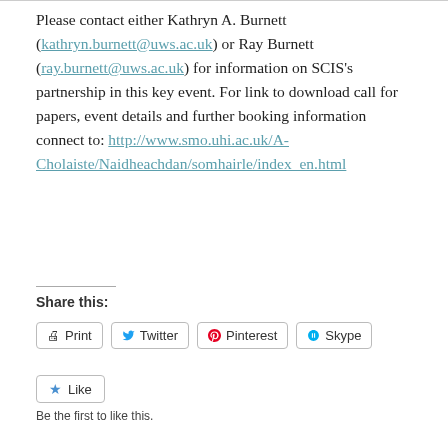Please contact either Kathryn A. Burnett (kathryn.burnett@uws.ac.uk) or Ray Burnett (ray.burnett@uws.ac.uk) for information on SCIS's partnership in this key event. For link to download call for papers, event details and further booking information connect to: http://www.smo.uhi.ac.uk/A-Cholaiste/Naidheachdan/somhairle/index_en.html
Share this:
Print  Twitter  Pinterest  Skype
Like  Be the first to like this.